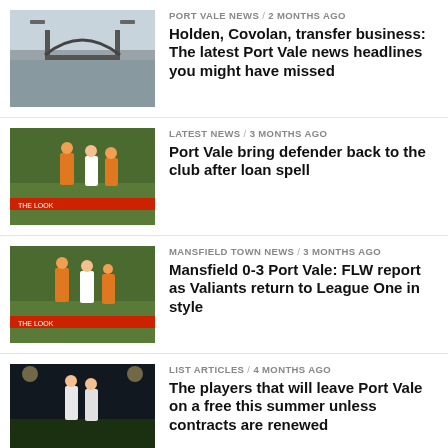[Figure (photo): Port Vale stadium entrance arch photo]
PORT VALE NEWS / 2 months ago
Holden, Covolan, transfer business: The latest Port Vale news headlines you might have missed
[Figure (photo): Football match action photo - players in orange and white]
LATEST NEWS / 3 months ago
Port Vale bring defender back to the club after loan spell
[Figure (photo): Mansfield vs Port Vale match action photo]
MANSFIELD TOWN NEWS / 3 months ago
Mansfield 0-3 Port Vale: FLW report as Valiants return to League One in style
[Figure (photo): Port Vale players on pitch at night match]
LIST ARTICLES / 4 months ago
The players that will leave Port Vale on a free this summer unless contracts are renewed
[Figure (photo): Football match players in red and white]
LATEST NEWS / 6 months ago
Quiz: Can you name which English club